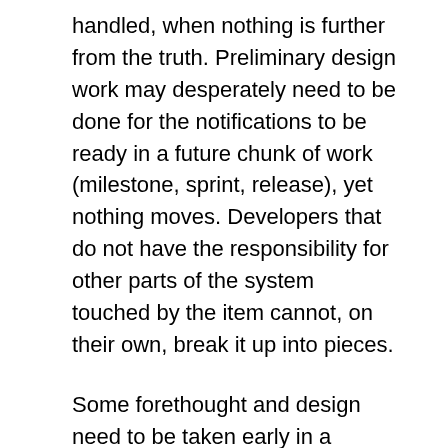handled, when nothing is further from the truth. Preliminary design work may desperately need to be done for the notifications to be ready in a future chunk of work (milestone, sprint, release), yet nothing moves. Developers that do not have the responsibility for other parts of the system touched by the item cannot, on their own, break it up into pieces.
Some forethought and design need to be taken early in a project to avoid these problems. Use a standard that works well for your organization. Break it up into meaningful chunks that will match up with your development team structure. For example we might enter the item as a part of other related work tied to the client, server, administration and so on. This was the first